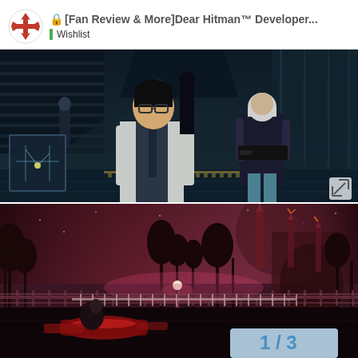[Fan Review & More]Dear Hitman™ Developer... Wishlist
[Figure (screenshot): Top screenshot from Hitman video game showing characters walking down a futuristic corridor with glass walls. A man in a white lab coat with glasses is in the foreground, a white-haired woman in dark clothing beside him, and other figures in the background. A minimap overlay is visible in the lower left corner and an expand icon in lower right.]
[Figure (screenshot): Bottom screenshot from Hitman video game showing an outdoor nighttime scene with a reddish-pink atmosphere. Trees with bare branches, a fenced area, a figure crouching near a red object on the ground, and large industrial structures in the background. A pagination indicator '1 / 3' appears in the lower right.]